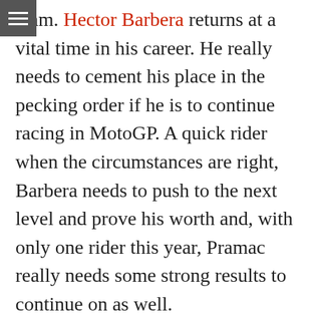team. Hector Barbera returns at a vital time in his career. He really needs to cement his place in the pecking order if he is to continue racing in MotoGP. A quick rider when the circumstances are right, Barbera needs to push to the next level and prove his worth and, with only one rider this year, Pramac really needs some strong results to continue on as well.
LCR Honda MotoGP
This satellite Honda team has shown some great performances with Casey Stoner in the past and is looking to rebuild after a poor performance last year by the ousted Toni